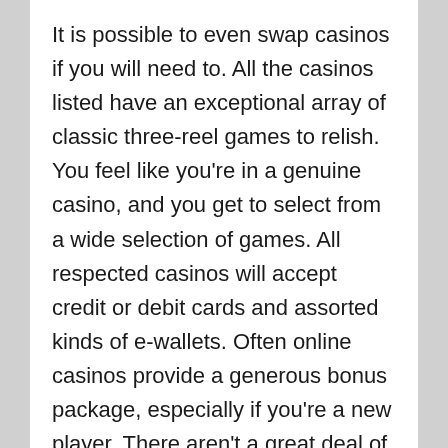It is possible to even swap casinos if you will need to. All the casinos listed have an exceptional array of classic three-reel games to relish. You feel like you're in a genuine casino, and you get to select from a wide selection of games. All respected casinos will accept credit or debit cards and assorted kinds of e-wallets. Often online casinos provide a generous bonus package, especially if you're a new player. There aren't a great deal of online casinos that provide absolutely free play money. Of course there's not a casino that has the very best payings because at each casino it's possible to win and lose.
To play totally free casino games, you will acquire totally free credits anywhere between 1,000 up to 1